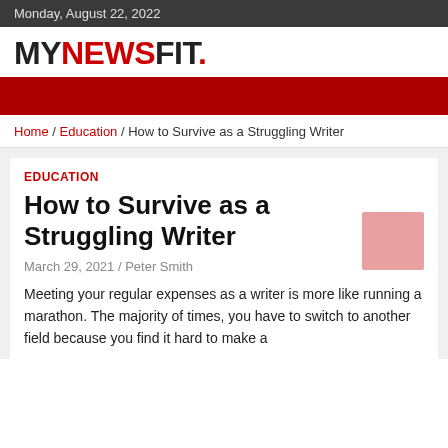Monday, August 22, 2022
MYNEWSFIT.
[Figure (other): Red banner decorative bar]
Home / Education / How to Survive as a Struggling Writer
EDUCATION
How to Survive as a Struggling Writer
March 29, 2021 / Peter Smith
Meeting your regular expenses as a writer is more like running a marathon. The majority of times, you have to switch to another field because you find it hard to make a